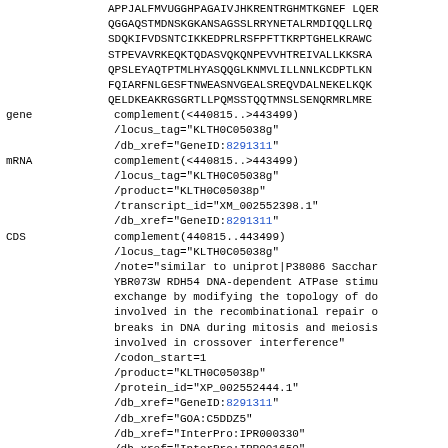APPJALFMVUGGHPAGAIVJHKRENTRGHMTKGNEF LQER
QGGAQSTMDNSKGKANSAGSSLRRYNETALRMDIQQLLRQ
SDQKIFVDSNTCIKKEDPRLRSFPFTTKRPTGHELKRAWC
STPEVAVRKEQKTQDASVQKQNPEVVHTREIVALLKKSRA
QPSLEYAQTPTMLHYASQQGLKNMVLILLNNLKCDPTLKN
FQIARFNLGESFTNWEASNVGEALSREQVDALNEKELKQK
QELDKEAKRGSGRTLLPQMSSTQQTMNSLSENQRMRLMRE
gene    complement(<440815..>443499)
        /locus_tag="KLTH0C05038g"
        /db_xref="GeneID:8291311"
mRNA    complement(<440815..>443499)
        /locus_tag="KLTH0C05038g"
        /product="KLTH0C05038p"
        /transcript_id="XM_002552398.1"
        /db_xref="GeneID:8291311"
CDS     complement(440815..443499)
        /locus_tag="KLTH0C05038g"
        /note="similar to uniprot|P38086 Sacchar
        YBR073W RDH54 DNA-dependent ATPase stimu
        exchange by modifying the topology of do
        involved in the recombinational repair o
        breaks in DNA during mitosis and meiosis
        involved in crossover interference"
        /codon_start=1
        /product="KLTH0C05038p"
        /protein_id="XP_002552444.1"
        /db_xref="GeneID:8291311"
        /db_xref="GOA:C5DDZ5"
        /db_xref="InterPro:IPR000330"
        /db_xref="InterPro:IPR001650"
        /db_xref="InterPro:IPR014001"
        /db_xref="InterPro:IPR027417"
        /db_xref="UniProtKB/TrEMBL:C5DDZ5"